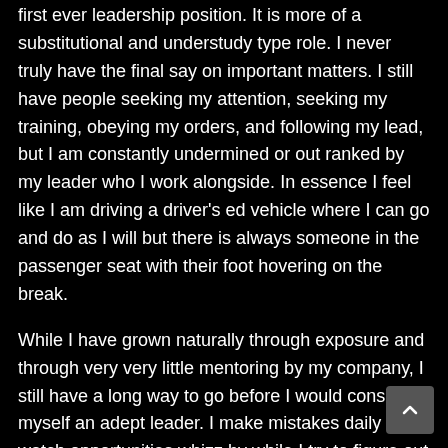first ever leadership position. It is more of a substitutional and understudy type role. I never truly have the final say on important matters. I still have people seeking my attention, seeking my training, obeying my orders, and following my lead, but I am constantly undermined or out ranked by my leader who I work alongside. In essence I feel like I am driving a driver's ed vehicle where I can go and do as I will but there is always someone in the passenger seat with their foot hovering on the break.
While I have grown naturally through exposure and through very very little mentoring by my company, I still have a long way to go before I would consider myself an adept leader. I make mistakes daily and watch opportunities whizz by while I try to figure out what to do. I have many victories, but am frequently humbled as well.